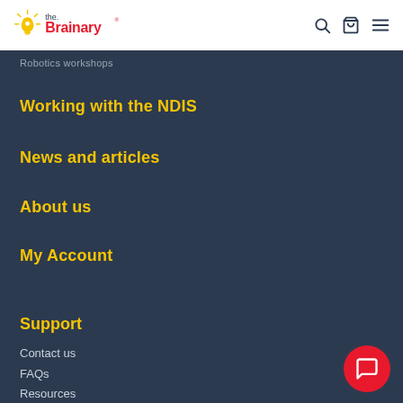the Brainary
Robotics workshops
Working with the NDIS
News and articles
About us
My Account
Support
Contact us
FAQs
Resources